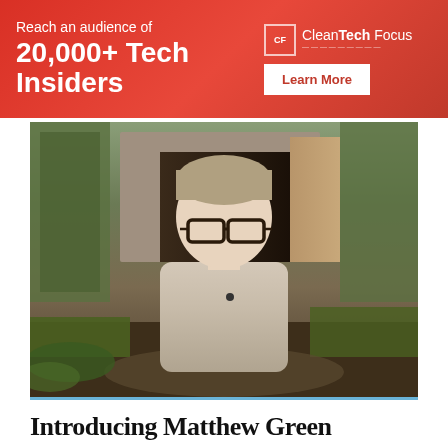[Figure (infographic): Red advertisement banner: 'Reach an audience of 20,000+ Tech Insiders' with CleanTech Focus logo and Learn More button]
[Figure (photo): A man with glasses wearing a light grey jacket standing outdoors in front of a dark concrete tunnel/bunker entrance surrounded by green vegetation]
Introducing Matthew Green